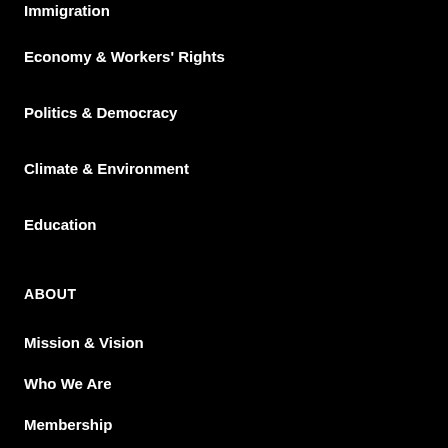Immigration
Economy & Workers' Rights
Politics & Democracy
Climate & Environment
Education
ABOUT
Mission & Vision
Who We Are
Membership
Supporters
Jobs
Call for Pitches